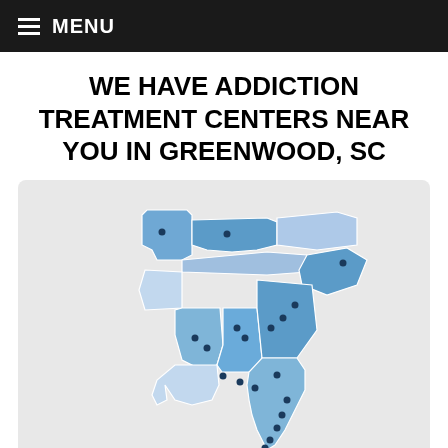MENU
WE HAVE ADDICTION TREATMENT CENTERS NEAR YOU IN GREENWOOD, SC
[Figure (map): Map of southeastern United States showing states highlighted in shades of blue (Missouri, Kentucky, Tennessee, Virginia/North Carolina, South Carolina, Georgia, Alabama, Mississippi, Louisiana, Florida, Arkansas) with dark blue dots indicating addiction treatment center locations. Florida has multiple dots along its peninsula and coasts. Several dots appear in Georgia, Alabama, and other southeastern states.]